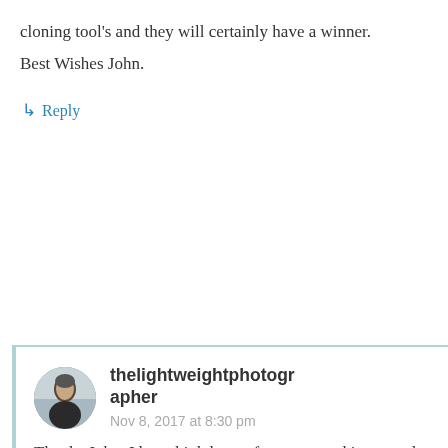cloning tool's and they will certainly have a winner.
Best Wishes John.
↳ Reply
[Figure (photo): Circular avatar photo of thelightweightphotographer]
thelightweightphotographer
Nov 8, 2017 at 8:30 pm
Thanks John. I have high hopes for a new and improved Nik Collection. DxO have a good and well deserved reputation but I